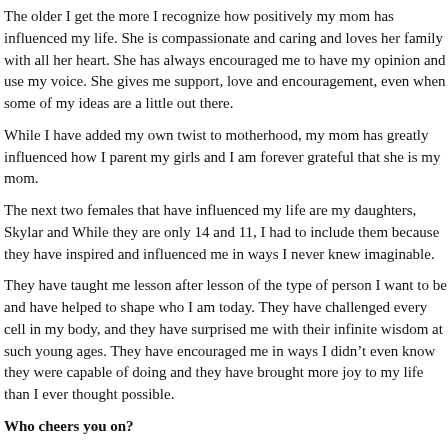The older I get the more I recognize how positively my mom has influenced my life. She is compassionate and caring and loves her family with all her heart. She has always encouraged me to have my opinion and use my voice. She gives me support, love and encouragement, even when some of my ideas are a little out there.
While I have added my own twist to motherhood, my mom has greatly influenced how I parent my girls and I am forever grateful that she is my mom.
The next two females that have influenced my life are my daughters, Skylar and While they are only 14 and 11, I had to include them because they have inspired and influenced me in ways I never knew imaginable.
They have taught me lesson after lesson of the type of person I want to be and have helped to shape who I am today. They have challenged every cell in my body, and they have surprised me with their infinite wisdom at such young ages. They have encouraged me in ways I didn't even know they were capable of doing and they have brought more joy to my life than I ever thought possible.
Who cheers you on?
My friends and family cheer me on with their kindness, support and love. I get cards, notes, e-mails, texts and phone calls from friends and family encouraging me. I